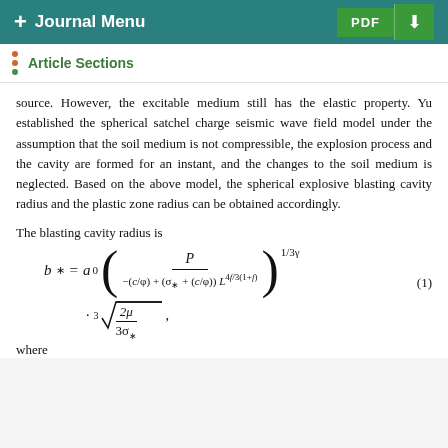+ Journal Menu   PDF ↓
Article Sections
source. However, the excitable medium still has the elastic property. Yu established the spherical satchel charge seismic wave field model under the assumption that the soil medium is not compressible, the explosion process and the cavity are formed for an instant, and the changes to the soil medium is neglected. Based on the above model, the spherical explosive blasting cavity radius and the plastic zone radius can be obtained accordingly.
The blasting cavity radius is
where